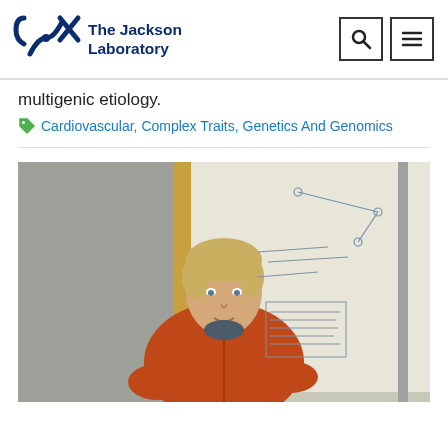The Jackson Laboratory
multigenic etiology.
Cardiovascular, Complex Traits, Genetics And Genomics
[Figure (photo): A man with blonde hair wearing an orange fleece jacket sits in front of a whiteboard with diagrams and notes written on it. The photo is taken in a laboratory or office setting.]